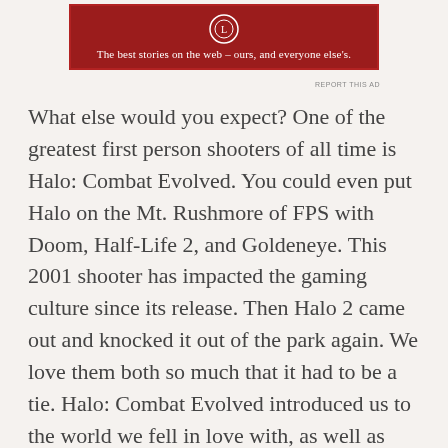[Figure (other): Red advertisement banner with Longreads logo and tagline 'The best stories on the web — ours, and everyone else's.']
REPORT THIS AD
What else would you expect? One of the greatest first person shooters of all time is Halo: Combat Evolved.  You could even put Halo on the Mt. Rushmore of FPS with Doom, Half-Life 2, and Goldeneye.  This 2001 shooter has impacted the gaming culture since its release. Then Halo 2 came out and knocked it out of the park again.  We love them both so much that it had to be a tie.  Halo: Combat Evolved introduced us to the world we fell in love with, as well as how much fun it was to play split screen against your friends on unforgettable maps such as Hang em High.  Then, Halo 2 came out and improved on the first game by allowing us to duel wield weapons and taking